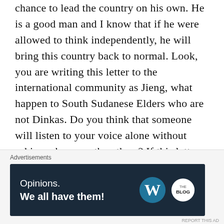chance to lead the country on his own. He is a good man and I know that if he were allowed to think independently, he will bring this country back to normal. Look, you are writing this letter to the international community as Jieng, what happen to South Sudanese Elders who are not Dinkas. Do you think that someone will listen to your voice alone without asking where are the others? If this letter was written by a collective voice of intellectuals across South Sudan, leaders of the world will read it. How can you, who are accused of planning the masscare of Juba, expect the world to
Advertisements
[Figure (other): Advertisement banner with dark navy background. Left side reads 'Opinions. We all have them!' in white text. Right side shows WordPress logo (W in circle) and another blog logo in white circle.]